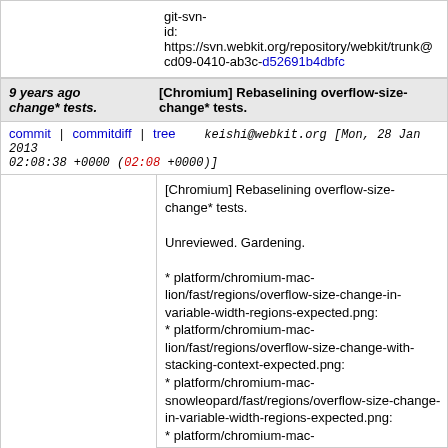git-svn-id: https://svn.webkit.org/repository/webkit/trunk@ cd09-0410-ab3c-d52691b4dbfc
9 years ago change* tests.   [Chromium] Rebaselining overflow-size-change* tests.
commit | commitdiff | tree   keishi@webkit.org [Mon, 28 Jan 2013 02:08:38 +0000 (02:08 +0000)]
[Chromium] Rebaselining overflow-size-change* tests.

Unreviewed. Gardening.

* platform/chromium-mac-lion/fast/regions/overflow-size-change-in-variable-width-regions-expected.png:
* platform/chromium-mac-lion/fast/regions/overflow-size-change-with-stacking-context-expected.png:
* platform/chromium-mac-snowleopard/fast/regions/overflow-size-change-in-variable-width-regions-expected.png:
* platform/chromium-mac-snowleopard/fast/regions/overflow-size-change-with-stacking-context-expected.png:
* platform/chromium-